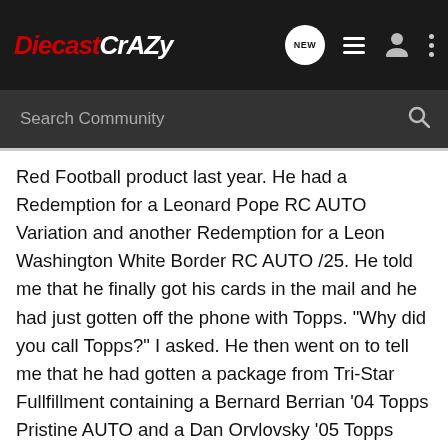DiecastCrazy
Red Football product last year. He had a Redemption for a Leonard Pope RC AUTO Variation and another Redemption for a Leon Washington White Border RC AUTO /25. He told me that he finally got his cards in the mail and he had just gotten off the phone with Topps. "Why did you call Topps?" I asked. He then went on to tell me that he had gotten a package from Tri-Star Fullfillment containing a Bernard Berrian '04 Topps Pristine AUTO and a Dan Orvlovsky '05 Topps AUTO. He was very upset. Topps told him that they chose these replacements based on book value and that they use Beckett as a "guide". His question was, "How could you replace a guy that is a starter and an up and coming RB with a QB that isn't even playing and may not even be in the league?" There answer was..... "I'm sorry but the cards have equal book value according to Beckett." Wow was all I could say. He is holding a Redemption